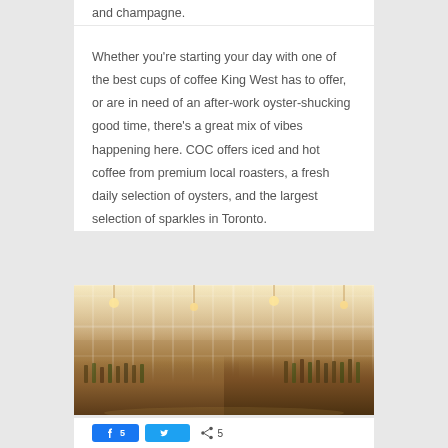and champagne.
Whether you're starting your day with one of the best cups of coffee King West has to offer, or are in need of an after-work oyster-shucking good time, there's a great mix of vibes happening here. COC offers iced and hot coffee from premium local roasters, a fresh daily selection of oysters, and the largest selection of sparkles in Toronto.
[Figure (photo): Interior photo of a restaurant or bar showing ceiling lights, shelving with bottles, warm lighting and a modern open space]
5